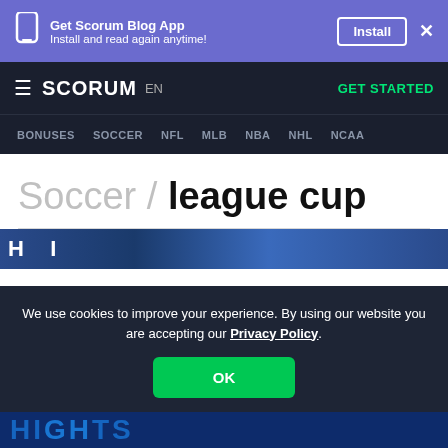Get Scorum Blog App
Install and read again anytime!
SCORUM  EN  GET STARTED
BONUSES  SOCCER  NFL  MLB  NBA  NHL  NCAA
Soccer / league cup
[Figure (photo): Partial image strip showing sports highlights]
We use cookies to improve your experience. By using our website you are accepting our Privacy Policy.
OK
[Figure (photo): Bottom partial image strip showing HIGHLIGHTS text]